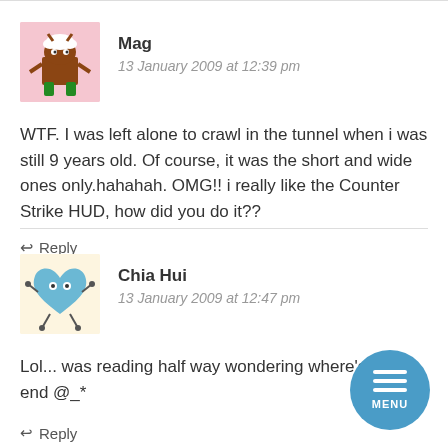[Figure (illustration): Avatar image of Mag - cartoon monster character on pink background]
Mag
13 January 2009 at 12:39 pm
WTF. I was left alone to crawl in the tunnel when i was still 9 years old. Of course, it was the short and wide ones only.hahahah. OMG!! i really like the Counter Strike HUD, how did you do it??
↩ Reply
[Figure (illustration): Avatar image of Chia Hui - cartoon heart character on light yellow background]
Chia Hui
13 January 2009 at 12:47 pm
Lol... was reading half way wondering where's MAD end @_*
↩ Reply